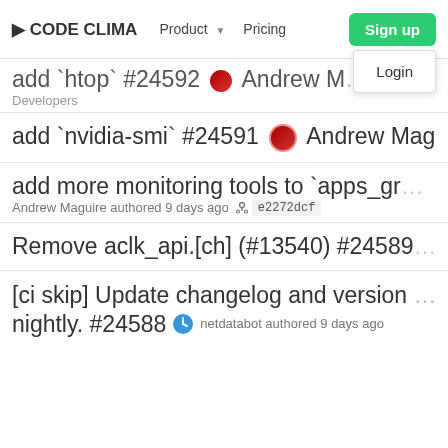CODE CLIMATE  Product  Pricing  Sign up  Login
add `htop` #24592 Andrew M... authored 9 days ago  Developers
add `nvidia-smi` #24591 Andrew Maguire aut...
add more monitoring tools to `apps_gr...  Andrew Maguire authored 9 days ago  e2272dcf
Remove aclk_api.[ch] (#13540) #24589...
[ci skip] Update changelog and version nightly. #24588  netdatabot authored 9 days ago